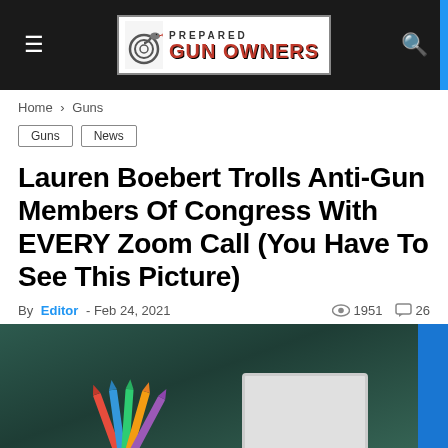Prepared Gun Owners
Home › Guns
Guns
News
Lauren Boebert Trolls Anti-Gun Members Of Congress With EVERY Zoom Call (You Have To See This Picture)
By Editor - Feb 24, 2021  👁 1951  💬 26
[Figure (photo): Article header image showing a dark teal/green background, colored pencils in the lower left, and a monitor/laptop frame in the lower right with a blue sidebar strip on the far right edge.]